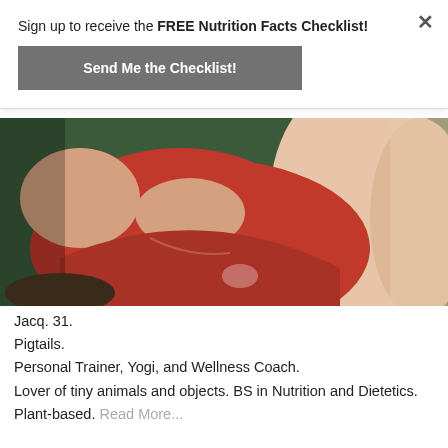Sign up to receive the FREE Nutrition Facts Checklist!
Send Me the Checklist!
[Figure (photo): Photo of a person wearing a red tank top, leaning forward, taken from the torso up, with a green background visible behind them.]
Jacq. 31.
Pigtails.
Personal Trainer, Yogi, and Wellness Coach.
Lover of tiny animals and objects. BS in Nutrition and Dietetics. Plant-based. Read More...
[Figure (photo): Partial bottom strip of a second photo showing what appears to be a room interior with furniture.]